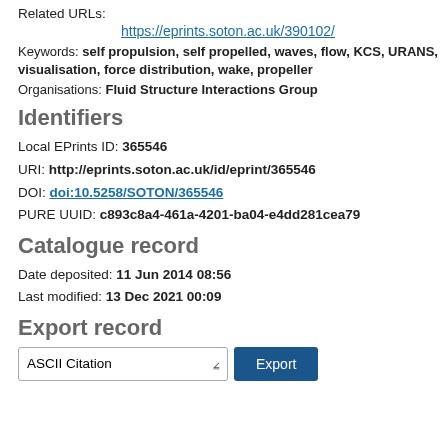Related URLs:
https://eprints.soton.ac.uk/390102/
Keywords: self propulsion, self propelled, waves, flow, KCS, URANS, visualisation, force distribution, wake, propeller
Organisations: Fluid Structure Interactions Group
Identifiers
Local EPrints ID: 365546
URI: http://eprints.soton.ac.uk/id/eprint/365546
DOI: doi:10.5258/SOTON/365546
PURE UUID: c893c8a4-461a-4201-ba04-e4dd281cea79
Catalogue record
Date deposited: 11 Jun 2014 08:56
Last modified: 13 Dec 2021 00:09
Export record
ASCII Citation  Export